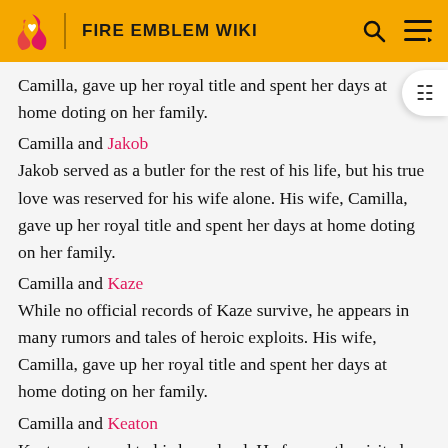FIRE EMBLEM WIKI
Camilla, gave up her royal title and spent her days at home doting on her family.
Camilla and Jakob
Jakob served as a butler for the rest of his life, but his true love was reserved for his wife alone. His wife, Camilla, gave up her royal title and spent her days at home doting on her family.
Camilla and Kaze
While no official records of Kaze survive, he appears in many rumors and tales of heroic exploits. His wife, Camilla, gave up her royal title and spent her days at home doting on her family.
Camilla and Keaton
Keaton returned to his homeland. He frequently visited